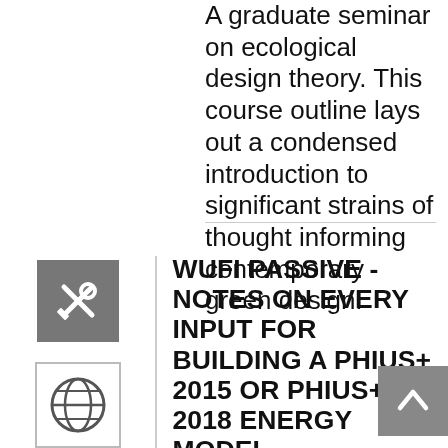A graduate seminar on ecological design theory. This course outline lays out a condensed introduction to significant strains of thought informing contemporary green design.
WUFI PASSIVE - NOTES ON EVERY INPUT FOR BUILDING A PHIUS+ 2015 OR PHIUS+ 2018 ENERGY MODEL
By Jonathan Bean